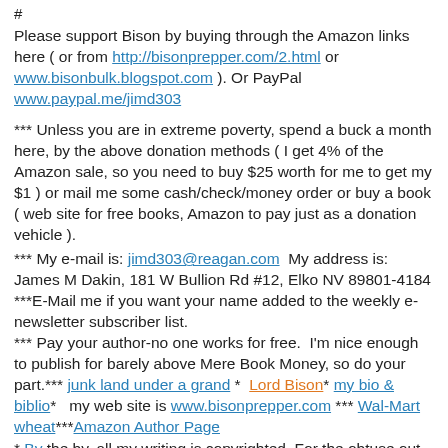#
Please support Bison by buying through the Amazon links here ( or from http://bisonprepper.com/2.html or www.bisonbulk.blogspot.com ). Or PayPal www.paypal.me/jimd303
*** Unless you are in extreme poverty, spend a buck a month here, by the above donation methods ( I get 4% of the Amazon sale, so you need to buy $25 worth for me to get my $1 ) or mail me some cash/check/money order or buy a book ( web site for free books, Amazon to pay just as a donation vehicle ).
*** My e-mail is: jimd303@reagan.com  My address is: James M Dakin, 181 W Bullion Rd #12, Elko NV 89801-4184
***E-Mail me if you want your name added to the weekly e-newsletter subscriber list.
*** Pay your author-no one works for free.  I'm nice enough to publish for barely above Mere Book Money, so do your part.*** junk land under a grand *  Lord Bison* my bio & biblio*   my web site is www.bisonprepper.com *** Wal-Mart wheat***Amazon Author Page
* By the by, all my writing is copyrighted. For the obtuse out